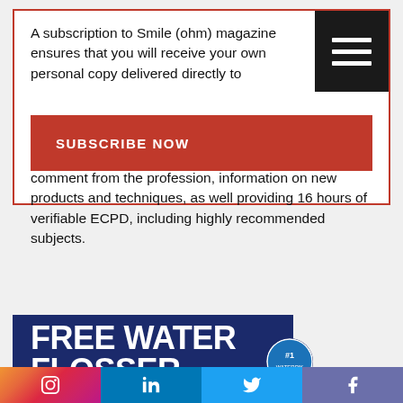A subscription to Smile (ohm) magazine ensures that you will receive your own personal copy delivered directly to your door. Specifically written for dental hygienists and therapists, Smile brings you the latest news and comment from the profession, information on new products and techniques, as well providing 16 hours of verifiable ECPD, including highly recommended subjects.
SUBSCRIBE NOW
[Figure (infographic): Advertisement banner with dark blue background showing 'FREE WATER FLOSSER' text in large bold white letters and a circular #1 badge]
[Figure (infographic): Social media icon bar with Instagram (gradient), LinkedIn (blue), Twitter (light blue), and Facebook (purple) icons]